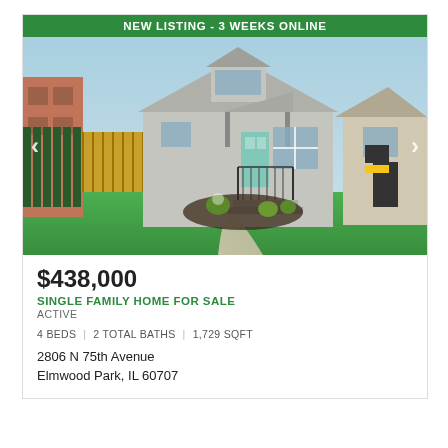NEW LISTING - 3 WEEKS ONLINE
[Figure (photo): Exterior photo of a gray single-family home with a green lawn, wood fence, and front porch with black railings. Navigation arrows on left and right sides of the photo.]
$438,000
SINGLE FAMILY HOME FOR SALE
ACTIVE
4 BEDS | 2 TOTAL BATHS | 1,729 SQFT
2806 N 75th Avenue
Elmwood Park, IL 60707